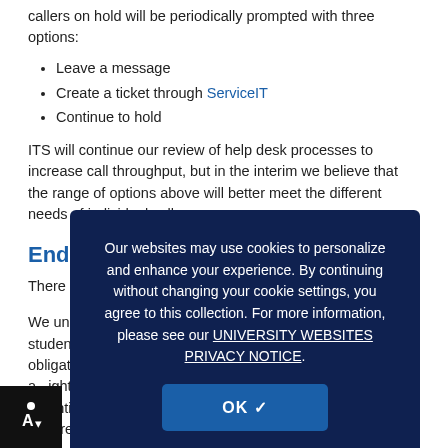callers on hold will be periodically prompted with three options:
Leave a message
Create a ticket through ServiceIT
Continue to hold
ITS will continue our review of help desk processes to increase call throughput, but in the interim we believe that the range of options above will better meet the different needs of individual callers.
End of Semester Moratorium
There will be... and system... Monday-Friday, May 16.
We understand that this time of year is a critical period with students and faculty trying to meet end-of semester obligations. ITS has ... restrictions on changes to systems a... ight have a production impact in order to minimize potential outages during this high anxiety period. Changes required to respond to emergency
[Figure (other): Cookie consent overlay dialog on dark navy background. Text reads: 'Our websites may use cookies to personalize and enhance your experience. By continuing without changing your cookie settings, you agree to this collection. For more information, please see our UNIVERSITY WEBSITES PRIVACY NOTICE.' with an OK button.]
[Figure (other): Accessibility icon (A with down arrow) in bottom-left corner on black background]